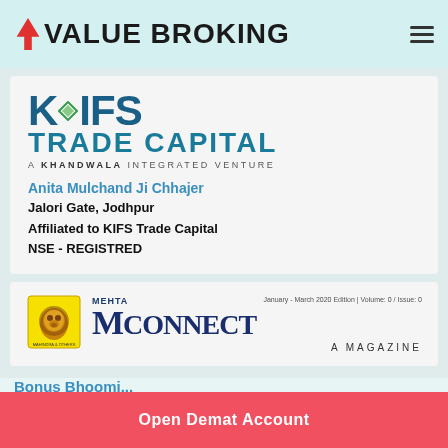VALUE BROKING
[Figure (logo): KIFS Trade Capital logo — A Khandwala Integrated Venture]
Anita Mulchand Ji Chhajer
Jalori Gate, Jodhpur
Affiliated to KIFS Trade Capital
NSE - REGISTRED
[Figure (logo): Mehta MConnect — A Magazine logo with lion mascot. January-March 2020 Edition | Volume: 0 / Issue: 0]
Bonus Bhoomi...
Open Demat Account